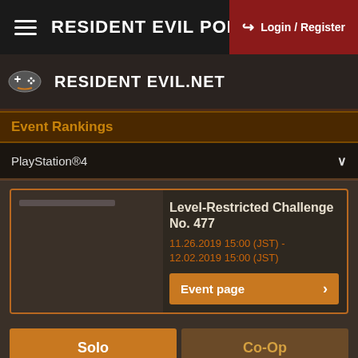RESIDENT EVIL PORTAL
Login / Register
RESIDENT EVIL.NET
Event Rankings
PlayStation®4
Level-Restricted Challenge No. 477
11.26.2019 15:00 (JST) - 12.02.2019 15:00 (JST)
Event page
Solo
Co-Op
(Rankings are updated every 6 hours.)